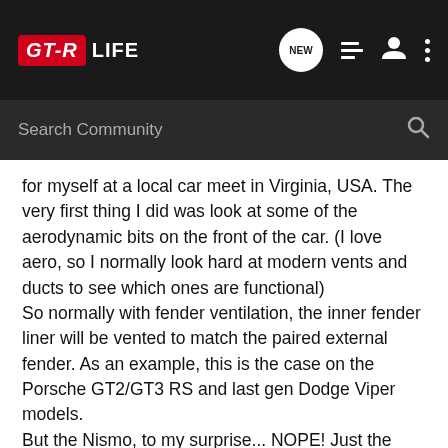GT-R LIFE
for myself at a local car meet in Virginia, USA. The very first thing I did was look at some of the aerodynamic bits on the front of the car. (I love aero, so I normally look hard at modern vents and ducts to see which ones are functional)
So normally with fender ventilation, the inner fender liner will be vented to match the paired external fender. As an example, this is the case on the Porsche GT2/GT3 RS and last gen Dodge Viper models.
But the Nismo, to my surprise... NOPE! Just the same fender liner as a base model. Which had me scratching my head. Was this vent even functional?